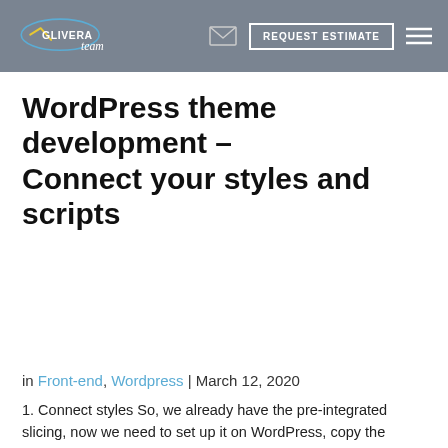GLIVERA team | REQUEST ESTIMATE
WordPress theme development – Connect your styles and scripts
in Front-end, Wordpress | March 12, 2020
1. Connect styles So, we already have the pre-integrated slicing, now we need to set up it on WordPress, copy the folders /js and /styles into the theme folder wp-content/themes/test_themes/ In wp-